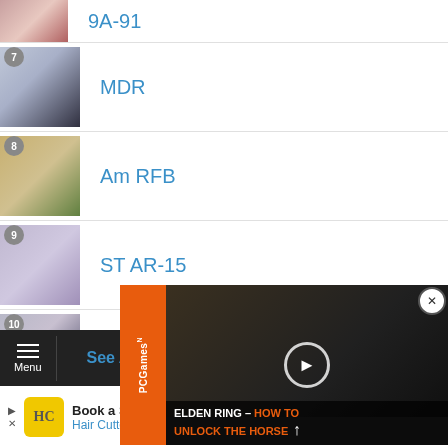9A-91
7 MDR
8 Am RFB
9 ST AR-15
10 Vector
[Figure (screenshot): PCGamesN video ad overlay: Elden Ring - How to Unlock the Horse]
[Figure (screenshot): Hair Cuttery advertisement: Book a Same Day Appointment]